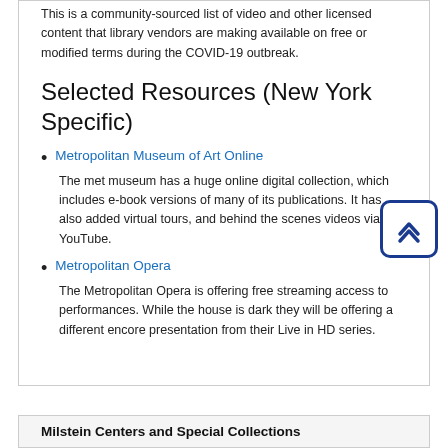This is a community-sourced list of video and other licensed content that library vendors are making available on free or modified terms during the COVID-19 outbreak.
Selected Resources (New York Specific)
Metropolitan Museum of Art Online
The met museum has a huge online digital collection, which includes e-book versions of many of its publications. It has also added virtual tours, and behind the scenes videos via YouTube.
Metropolitan Opera
The Metropolitan Opera is offering free streaming access to performances. While the house is dark they will be offering a different encore presentation from their Live in HD series.
Milstein Centers and Special Collections